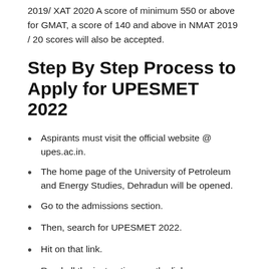2019/ XAT 2020 A score of minimum 550 or above for GMAT, a score of 140 and above in NMAT 2019 / 20 scores will also be accepted.
Step By Step Process to Apply for UPESMET 2022
Aspirants must visit the official website @ upes.ac.in.
The home page of the University of Petroleum and Energy Studies, Dehradun will be opened.
Go to the admissions section.
Then, search for UPESMET 2022.
Hit on that link.
Read all the instructions on the link.